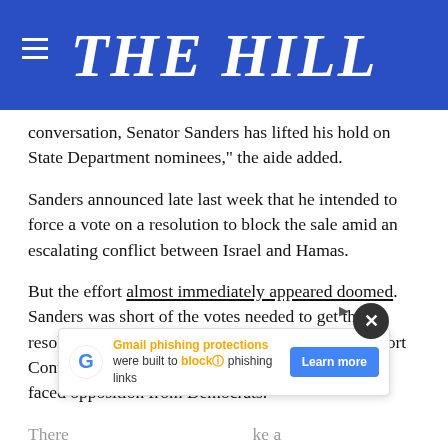THE HILL
conversation, Senator Sanders has lifted his hold on State Department nominees," the aide added.
Sanders announced late last week that he intended to force a vote on a resolution to block the sale amid an escalating conflict between Israel and Hamas.
But the effort almost immediately appeared doomed. Sanders was short of the votes needed to get the resolution through the Senate. Under the Arms Export Control Act, Sanders needed a simple majority, but faced opposition from Democrats.
There [ad overlay] ke a vote s... sale closed late last week
[Figure (screenshot): Gmail phishing protections advertisement overlay with Learn more button]